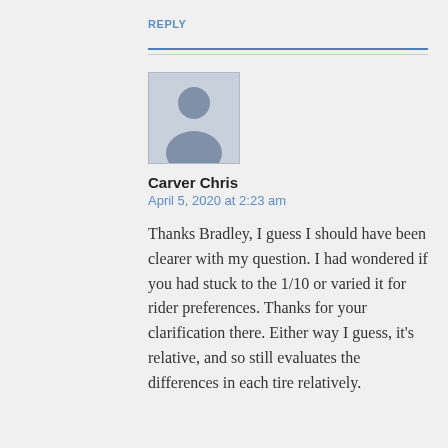REPLY
Carver Chris
April 5, 2020 at 2:23 am
Thanks Bradley, I guess I should have been clearer with my question. I had wondered if you had stuck to the 1/10 or varied it for rider preferences. Thanks for your clarification there. Either way I guess, it's relative, and so still evaluates the differences in each tire relatively.